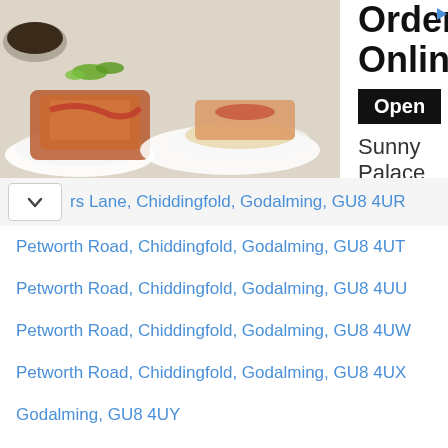[Figure (advertisement): Ad banner for Sunny Palace restaurant with food photo, 'Order Online' heading, 'Open' button and 'Sunny Palace' text]
rs Lane, Chiddingfold, Godalming, GU8 4UR
Petworth Road, Chiddingfold, Godalming, GU8 4UT
Petworth Road, Chiddingfold, Godalming, GU8 4UU
Petworth Road, Chiddingfold, Godalming, GU8 4UW
Petworth Road, Chiddingfold, Godalming, GU8 4UX
Godalming, GU8 4UY
Brook Meadow, Chiddingfold, Godalming, GU8 4UZ
Godalming, GU8 4WA (No Longer In Use)
Godalming, GU8 4WB (No Longer In Use)
Godalming, GU8 4WD (No Longer In Use)
Godalming, GU8 4WE (No Longer In Use)
Godalming, GU8 4WF (No Longer In Use)